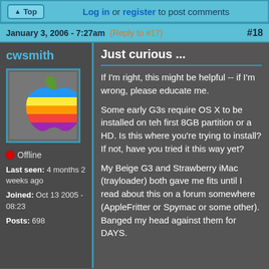Top | Log in or register to post comments
January 3, 2006 - 7:27am (Reply to #17) #18
cwsmith
[Figure (illustration): Rainbow Apple logo on gray background]
Offline
Last seen: 4 months 2 weeks ago
Joined: Oct 13 2005 - 08:23
Posts: 698
Just curious ...
If I'm right, this might be helpful -- if I'm wrong, please educate me.
Some early G3s require OS X to be installed on teh first 8GB partition or a HD. Is this where you're trying to install? If not, have you tried it this way yet?
My Beige G3 and Strawberry iMac (trayloader) both gave me fits until I read about this on a forum somewhere (AppleFritter or Spymac or some other). Banged my head against them for DAYS.